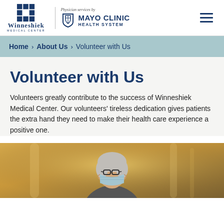[Figure (logo): Winneshiek Medical Center logo with blue cross/grid icon and text, separated by vertical line from Mayo Clinic Health System logo with shield icon]
Home › About Us › Volunteer with Us
Volunteer with Us
Volunteers greatly contribute to the success of Winneshiek Medical Center. Our volunteers' tireless dedication gives patients the extra hand they need to make their health care experience a positive one.
[Figure (photo): Photo of an older woman with grey hair and glasses wearing a surgical mask, standing in a hospital corridor]